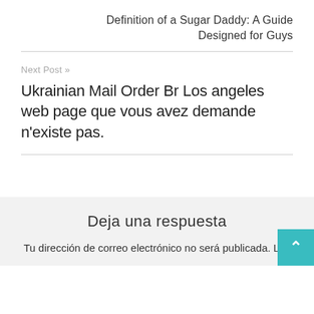Definition of a Sugar Daddy: A Guide Designed for Guys
Next Post »
Ukrainian Mail Order Br Los angeles web page que vous avez demande n'existe pas.
Deja una respuesta
Tu dirección de correo electrónico no será publicada. Los